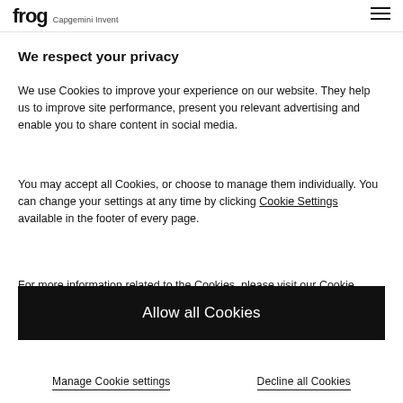frog Capgemini Invent
How to create an
We respect your privacy
We use Cookies to improve your experience on our website. They help us to improve site performance, present you relevant advertising and enable you to share content in social media.
You may accept all Cookies, or choose to manage them individually. You can change your settings at any time by clicking Cookie Settings available in the footer of every page.
For more information related to the Cookies, please visit our Cookie Policy.
Allow all Cookies
Manage Cookie settings
Decline all Cookies